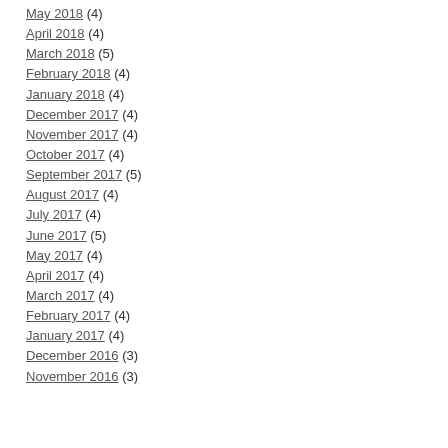May 2018 (4)
April 2018 (4)
March 2018 (5)
February 2018 (4)
January 2018 (4)
December 2017 (4)
November 2017 (4)
October 2017 (4)
September 2017 (5)
August 2017 (4)
July 2017 (4)
June 2017 (5)
May 2017 (4)
April 2017 (4)
March 2017 (4)
February 2017 (4)
January 2017 (4)
December 2016 (3)
November 2016 (3)